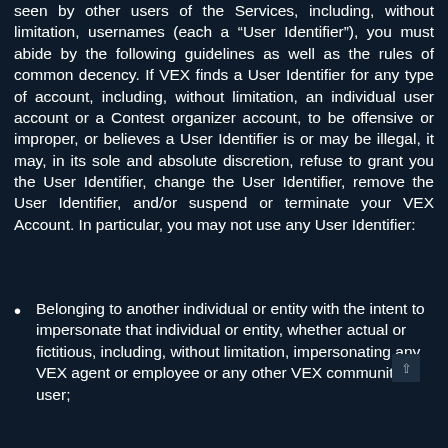seen by other users of the Services, including, without limitation, usernames (each a “User Identifier”), you must abide by the following guidelines as well as the rules of common decency. If VEX finds a User Identifier for any type of account, including, without limitation, an individual user account or a Contest organizer account, to be offensive or improper, or believes a User Identifier is or may be illegal, it may, in its sole and absolute discretion, refuse to grant you the User Identifier, change the User Identifier, remove the User Identifier, and/or suspend or terminate your VEX Account. In particular, you may not use any User Identifier:
Belonging to another individual or entity with the intent to impersonate that individual or entity, whether actual or fictitious, including, without limitation, impersonating any VEX agent or employee or any other VEX community user;